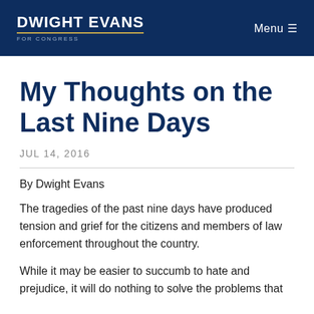DWIGHT EVANS FOR CONGRESS | Menu
My Thoughts on the Last Nine Days
JUL 14, 2016
By Dwight Evans
The tragedies of the past nine days have produced tension and grief for the citizens and members of law enforcement throughout the country.
While it may be easier to succumb to hate and prejudice, it will do nothing to solve the problems that